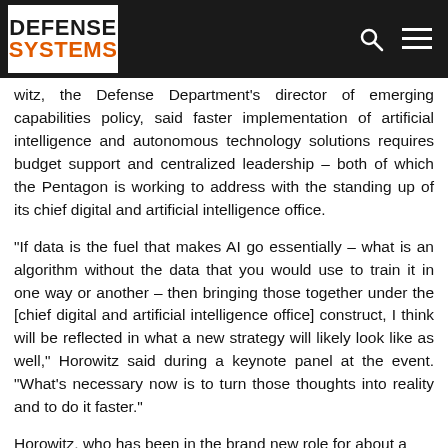Defense Systems
witz, the Defense Department's director of emerging capabilities policy, said faster implementation of artificial intelligence and autonomous technology solutions requires budget support and centralized leadership – both of which the Pentagon is working to address with the standing up of its chief digital and artificial intelligence office.
"If data is the fuel that makes AI go essentially – what is an algorithm without the data that you would use to train it in one way or another – then bringing those together under the [chief digital and artificial intelligence office] construct, I think will be reflected in what a new strategy will likely look like as well," Horowitz said during a keynote panel at the event. "What's necessary now is to turn those thoughts into reality and to do it faster."
Horowitz, who has been in the brand new role for about a